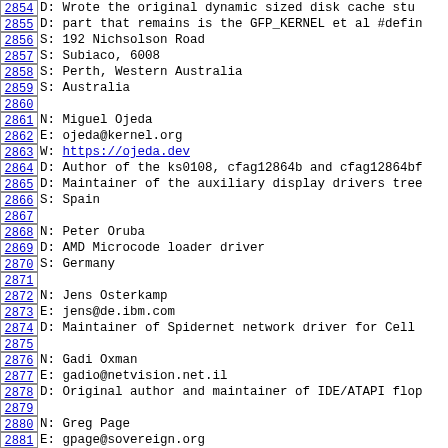2854  D: Wrote the original dynamic sized disk cache stu
2855  D: part that remains is the GFP_KERNEL et al #defin
2856  S: 192 Nichsolson Road
2857  S: Subiaco, 6008
2858  S: Perth, Western Australia
2859  S: Australia
2860
2861  N: Miguel Ojeda
2862  E: ojeda@kernel.org
2863  W: https://ojeda.dev
2864  D: Author of the ks0108, cfag12864b and cfag12864bf
2865  D: Maintainer of the auxiliary display drivers tree
2866  S: Spain
2867
2868  N: Peter Oruba
2869  D: AMD Microcode loader driver
2870  S: Germany
2871
2872  N: Jens Osterkamp
2873  E: jens@de.ibm.com
2874  D: Maintainer of Spidernet network driver for Cell
2875
2876  N: Gadi Oxman
2877  E: gadio@netvision.net.il
2878  D: Original author and maintainer of IDE/ATAPI flop
2879
2880  N: Greg Page
2881  E: gpage@sovereign.org
2882  D: IPX development and support
2883